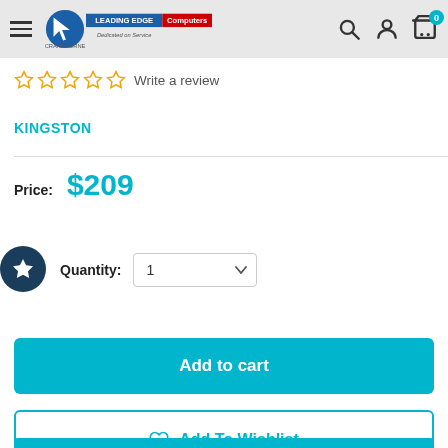Leading Edge Computers navigation bar with logo, search, account, and cart icons
☆ ☆ ☆ ☆ ☆ Write a review
KINGSTON
Price: $209
Quantity: 1
Add to cart
Add To Wishlist